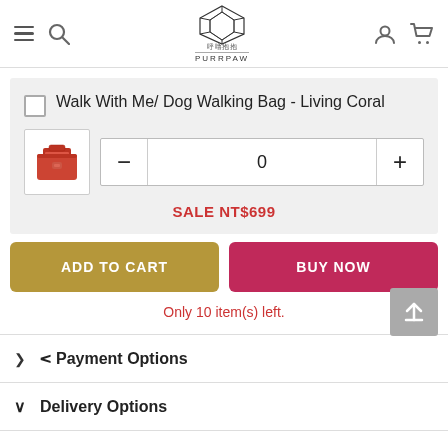PurrPaw store navigation header with hamburger menu, search, logo, user account, and cart icons
Walk With Me/ Dog Walking Bag - Living Coral
[Figure (photo): Small thumbnail image of a red/coral colored dog walking bag]
0
SALE NT$699
ADD TO CART
BUY NOW
Only 10 item(s) left.
Payment Options
Delivery Options